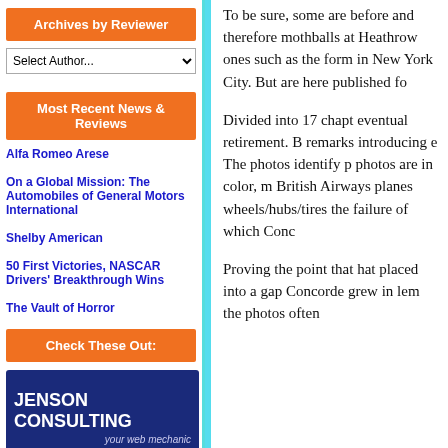Archives by Reviewer
Select Author...
Most Recent News & Reviews
Alfa Romeo Arese
On a Global Mission: The Automobiles of General Motors International
Shelby American
50 First Victories, NASCAR Drivers' Breakthrough Wins
The Vault of Horror
Check These Out:
[Figure (logo): Jenson Consulting - your web mechanic advertisement banner with dark blue background and white bold text]
To be sure, some are before and therefore mothballs at Heathrow ones such as the form in New York City. But are here published fo
Divided into 17 chapt eventual retirement. B remarks introducing e The photos identify p photos are in color, m British Airways planes wheels/hubs/tires the failure of which Conc
Proving the point that hat placed into a gap Concorde grew in lem the photos often